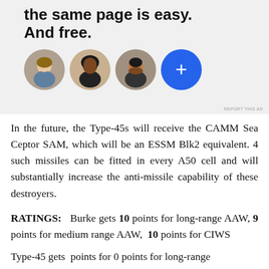[Figure (other): Advertisement banner showing bold text 'the same page is easy. And free.' with four circular avatar images (three profile photos and one blue circle with a plus sign). 'REPORT THIS AD' label at bottom right.]
In the future, the Type-45s will receive the CAMM Sea Ceptor SAM, which will be an ESSM Blk2 equivalent. 4 such missiles can be fitted in every A50 cell and will substantially increase the anti-missile capability of these destroyers.
RATINGS: Burke gets 10 points for long-range AAW, 9 points for medium range AAW, 10 points for CIWS
Type-45 gets points for 0 points for long-range